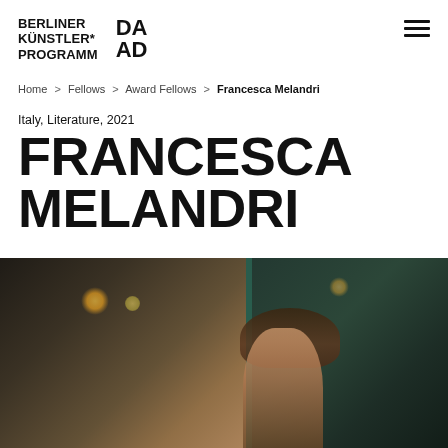BERLINER KÜNSTLER* PROGRAMM   DA AD
Home > Fellows > Award Fellows > Francesca Melandri
Italy, Literature, 2021
FRANCESCA MELANDRI
[Figure (photo): Photograph of Francesca Melandri in a café/restaurant setting, split composition with dark interior background and teal divider]